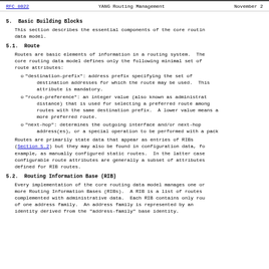RFC 8022    YANG Routing Management    November 2
5.  Basic Building Blocks
This section describes the essential components of the core routing data model.
5.1.  Route
Routes are basic elements of information in a routing system. The core routing data model defines only the following minimal set of route attributes:
"destination-prefix": address prefix specifying the set of destination addresses for which the route may be used. This attribute is mandatory.
"route-preference": an integer value (also known as administrative distance) that is used for selecting a preferred route among routes with the same destination prefix. A lower value means a more preferred route.
"next-hop": determines the outgoing interface and/or next-hop address(es), or a special operation to be performed with a packet.
Routes are primarily state data that appear as entries of RIBs (Section 5.2) but they may also be found in configuration data, for example, as manually configured static routes. In the latter case, configurable route attributes are generally a subset of attributes defined for RIB routes.
5.2.  Routing Information Base (RIB)
Every implementation of the core routing data model manages one or more Routing Information Bases (RIBs). A RIB is a list of routes complemented with administrative data. Each RIB contains only routes of one address family. An address family is represented by an identity derived from the "address-family" base identity.